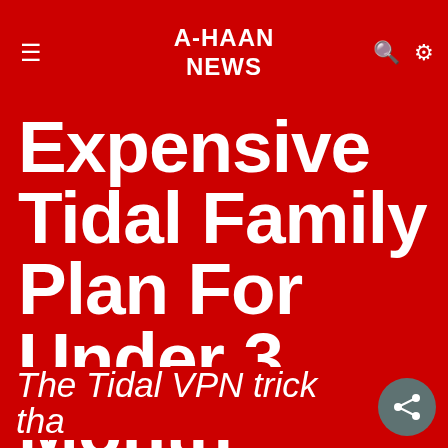A-HAAN NEWS
Expensive Tidal Family Plan For Under 3 Month
72% off The 2-Year Plan with 3 months free! - NordVPN
GET DEAL  ✕
The Tidal VPN trick tha